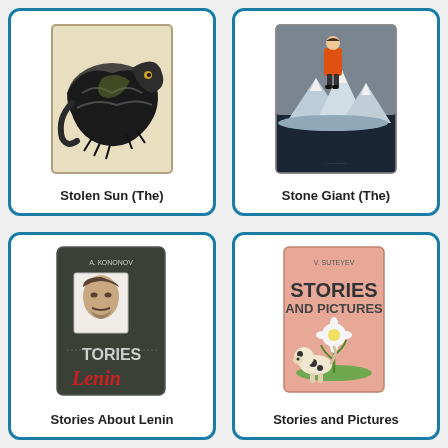[Figure (photo): Book cover of 'Stolen Sun (The)' showing a dark crocodile or dragon creature illustration]
Stolen Sun (The)
[Figure (photo): Book cover of 'Stone Giant (The)' showing a child in orange coat with mountain/glacier scene]
Stone Giant (The)
[Figure (photo): Book cover of 'Stories About Lenin' - dark green/grey cover with photo of Lenin and red script lettering]
Stories About Lenin
[Figure (photo): Book cover of 'Stories and Pictures' by V. Suteyev - pink cover with dog and flower illustration]
Stories and Pictures